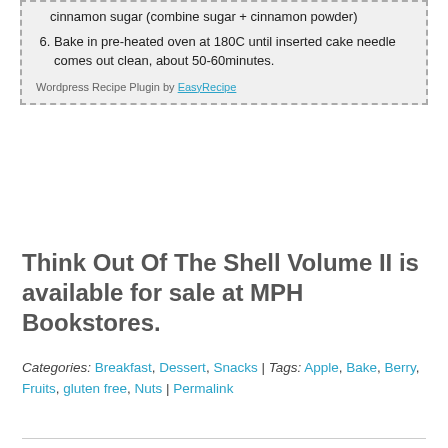cinnamon sugar (combine sugar + cinnamon powder)
6. Bake in pre-heated oven at 180C until inserted cake needle comes out clean, about 50-60minutes.
Wordpress Recipe Plugin by EasyRecipe
Think Out Of The Shell Volume II is available for sale at MPH Bookstores.
Categories: Breakfast, Dessert, Snacks | Tags: Apple, Bake, Berry, Fruits, gluten free, Nuts | Permalink